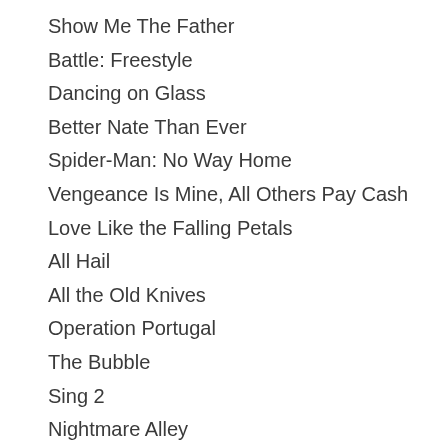Show Me The Father
Battle: Freestyle
Dancing on Glass
Better Nate Than Ever
Spider-Man: No Way Home
Vengeance Is Mine, All Others Pay Cash
Love Like the Falling Petals
All Hail
All the Old Knives
Operation Portugal
The Bubble
Sing 2
Nightmare Alley
Apollo 10½: A Space Age Childhood
Spencer